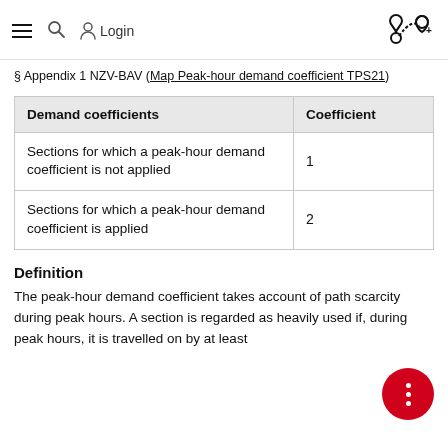≡  🔍  Login  [navigation icons]
§ Appendix 1 NZV-BAV (Map Peak-hour demand coefficient TPS21)
| Demand coefficients | Coefficient |
| --- | --- |
| Sections for which a peak-hour demand coefficient is not applied | 1 |
| Sections for which a peak-hour demand coefficient is applied | 2 |
Definition
The peak-hour demand coefficient takes account of path scarcity during peak hours. A section is regarded as heavily used if, during peak hours, it is travelled on by at least